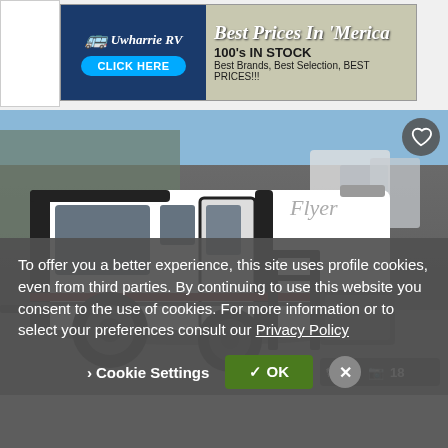[Figure (screenshot): Advertisement banner for Uwharrie RV dealership. Left side dark blue with RV icon and 'CLICK HERE' button. Right side with text 'Best Prices In Merica', '100's IN STOCK', 'Best Brands, Best Selection, BEST PRICES!!!']
[Figure (photo): Photo of a white travel trailer / small RV (branded 'Flyer') parked in a lot. Black trim, off-road tires, dark metal rear rack. Other RVs visible in background. Image counter shows 2 floor plans and 18 photos.]
To offer you a better experience, this site uses profile cookies, even from third parties. By continuing to use this website you consent to the use of cookies. For more information or to select your preferences consult our Privacy Policy
Cookie Settings
✓ OK